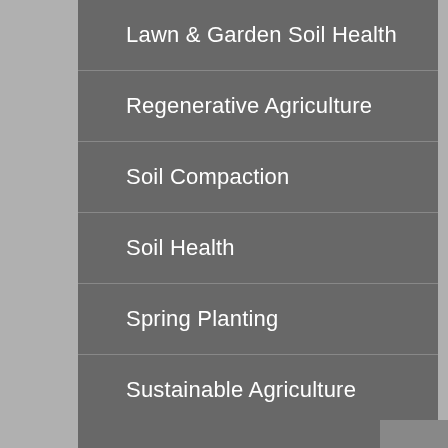Lawn & Garden Soil Health
Regenerative Agriculture
Soil Compaction
Soil Health
Spring Planting
Sustainable Agriculture